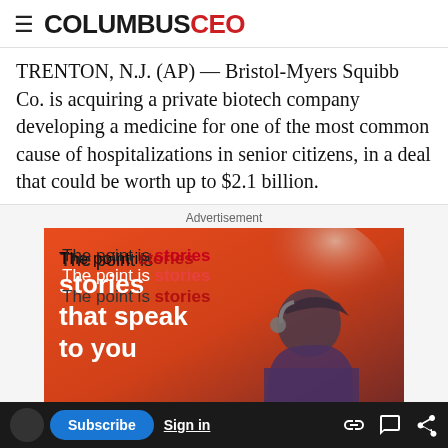COLUMBUS CEO
TRENTON, N.J. (AP) — Bristol-Myers Squibb Co. is acquiring a private biotech company developing a medicine for one of the most common cause of hospitalizations in senior citizens, in a deal that could be worth up to $2.1 billion.
Advertisement
[Figure (photo): Advertisement banner with orange/red gradient background showing a person wearing a cap and headphones, with text 'The point is stories that speak to you' and a 'USA TODAY | To the point' branding at the bottom]
Subscribe  Sign in